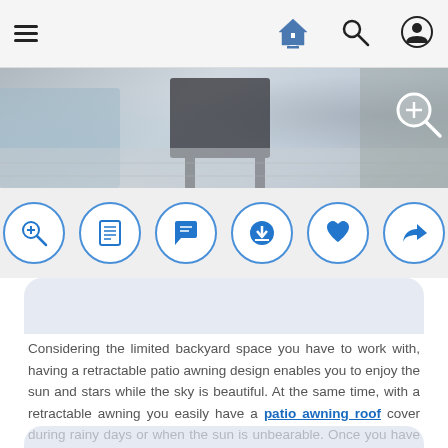Navigation bar with hamburger menu, home icon, search icon, and profile icon
[Figure (photo): Outdoor patio scene showing what appears to be a table/chair on a tiled surface, cropped view]
[Figure (infographic): Row of 6 circular blue action icons: zoom/magnify, article/list, comment/chat, download, heart/favorite, share/forward]
Considering the limited backyard space you have to work with, having a retractable patio awning design enables you to enjoy the sun and stars while the sky is beautiful. At the same time, with a retractable awning you easily have a patio awning roof cover during rainy days or when the sun is unbearable. Once you have the patio built, its time to decorate your outdoor living area to make your dream design and accommodate your family and guests.